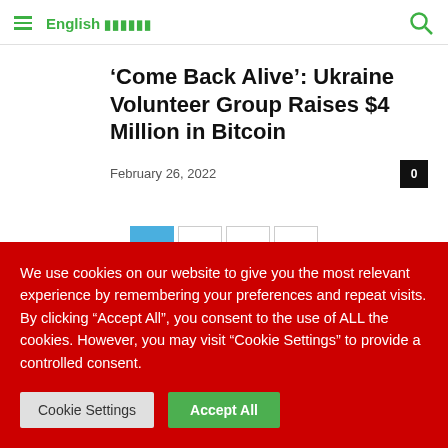English ••••••
'Come Back Alive': Ukraine Volunteer Group Raises $4 Million in Bitcoin
February 26, 2022
1 2 3 >
We use cookies on our website to give you the most relevant experience by remembering your preferences and repeat visits. By clicking "Accept All", you consent to the use of ALL the cookies. However, you may visit "Cookie Settings" to provide a controlled consent.
Cookie Settings   Accept All